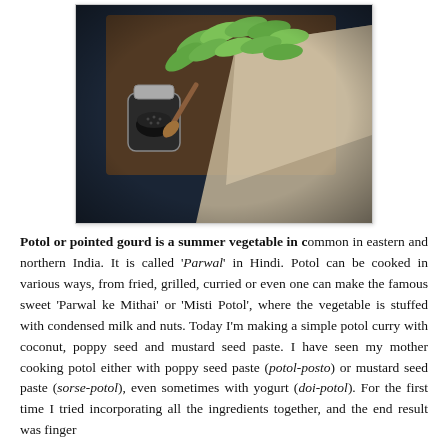[Figure (photo): Overhead dark-toned food photograph showing pointed gourds (potol/parwal) arranged on a wooden tray with a linen cloth, and a small jar of black seeds with a wooden spoon.]
Potol or pointed gourd is a summer vegetable in common in eastern and northern India. It is called 'Parwal' in Hindi. Potol can be cooked in various ways, from fried, grilled, curried or even one can make the famous sweet 'Parwal ke Mithai' or 'Misti Potol', where the vegetable is stuffed with condensed milk and nuts. Today I'm making a simple potol curry with coconut, poppy seed and mustard seed paste. I have seen my mother cooking potol either with poppy seed paste (potol-posto) or mustard seed paste (sorse-potol), even sometimes with yogurt (doi-potol). For the first time I tried incorporating all the ingredients together, and the end result was finger